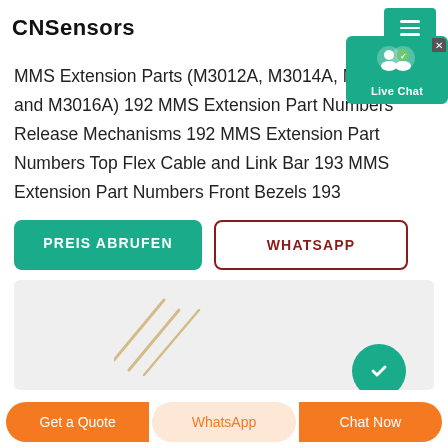CNSensors
MMS Extension Parts (M3012A, M3014A, M3015A and M3016A) 192 MMS Extension Part Numbers Release Mechanisms 192 MMS Extension Part Numbers Top Flex Cable and Link Bar 193 MMS Extension Part Numbers Front Bezels 193
PREIS ABRUFEN
WHATSAPP
[Figure (screenshot): Gray placeholder image area with decorative diagonal lines and a teal circular element at bottom right, and a Live Chat overlay widget in top right corner]
Get a Quote | WhatsApp | Chat Now